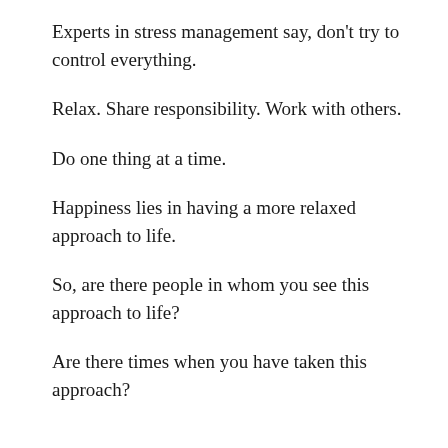Experts in stress management say, don't try to control everything.
Relax. Share responsibility. Work with others.
Do one thing at a time.
Happiness lies in having a more relaxed approach to life.
So, are there people in whom you see this approach to life?
Are there times when you have taken this approach?